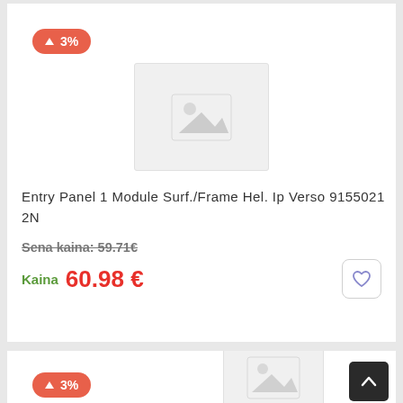[Figure (other): Product badge showing 3% price increase (up arrow + 3%)]
[Figure (other): Product image placeholder with mountain/landscape icon]
Entry Panel 1 Module Surf./Frame Hel. Ip Verso 91550212N
Sena kaina: 59.71€
Kaina 60.98 €
[Figure (other): Product badge showing 3% price increase (up arrow + 3%) for second card]
[Figure (other): Second product image placeholder with mountain/landscape icon]